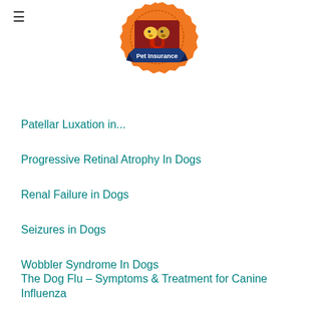U Pet Insurance (logo)
Patellar Luxation in...
Progressive Retinal Atrophy In Dogs
Renal Failure in Dogs
Seizures in Dogs
Wobbler Syndrome In Dogs
The Dog Flu – Symptoms & Treatment for Canine Influenza
Dog Biting Nails